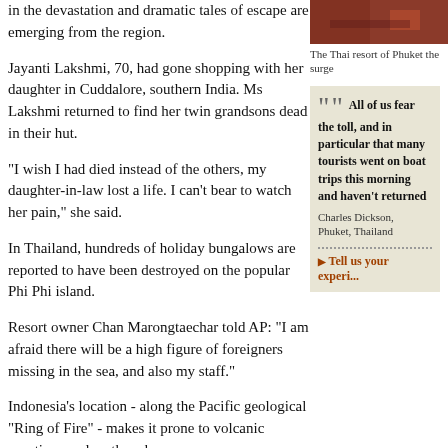in the devastation and dramatic tales of escape are emerging from the region.
[Figure (photo): The Thai resort of Phuket showing the surge]
The Thai resort of Phuket the surge
Jayanti Lakshmi, 70, had gone shopping with her daughter in Cuddalore, southern India. Ms Lakshmi returned to find her twin grandsons dead in their hut.
"I wish I had died instead of the others, my daughter-in-law lost a life. I can't bear to watch her pain," she said.
In Thailand, hundreds of holiday bungalows are reported to have been destroyed on the popular Phi Phi island.
Resort owner Chan Marongtaechar told AP: "I am afraid there will be a high figure of foreigners missing in the sea, and also my staff."
All of us fear the toll, and in particular that many tourists went on boat trips this morning and haven't returned
Charles Dickson, Phuket, Thailand
Tell us your experiences
Indonesia's location - along the Pacific geological "Ring of Fire" - makes it prone to volcanic eruptions and earthquakes.
Sunday's tremor - the fifth strongest since 1900 - had a particularly widespread effect because it seems to have taken place near the surface of the ocean, analysts say.
Bruce Presgrave of the US Geological service told the Reuters news agency: "These big earthquakes, when they occur in shallow water, basically slosh the ocean floor... and it's as if you're rocking..."